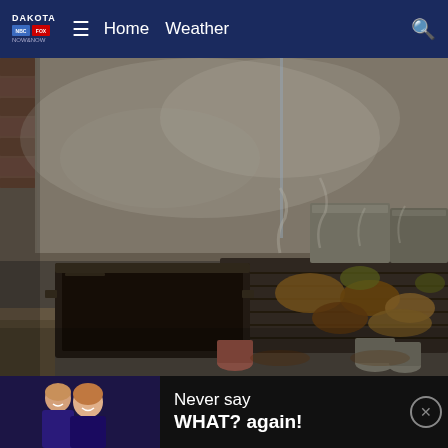DAKOTA NBC FOX NOW&NOW  ≡  Home  Weather  🔍
[Figure (photo): Commercial kitchen grill with steaming pots, pans, and food cooking on a flat-top grill. Steam rising in background. Dark, moody atmosphere with metallic surfaces.]
[Figure (photo): Advertisement banner showing two women (possibly TV anchors) on left side, with text 'Never say WHAT? again!' on dark background. Close button in top right.]